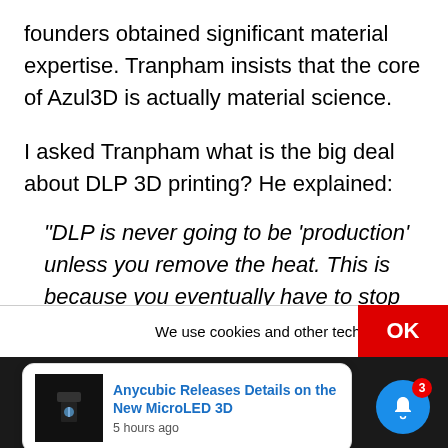founders obtained significant material expertise. Tranpham insists that the core of Azul3D is actually material science.
I asked Tranpham what is the big deal about DLP 3D printing? He explained:
“DLP is never going to be ‘production’ unless you remove the heat. This is because you eventually have to stop printing and cool do[wn]
We use cookies and other techniqu[es]
[Figure (screenshot): Notification card showing 'Anycubic Releases Details on the New MicroLED 3D' posted 5 hours ago, with a dark thumbnail of a 3D printer, overlaid on a dark footer band with a blue notification bell icon with badge count 3.]